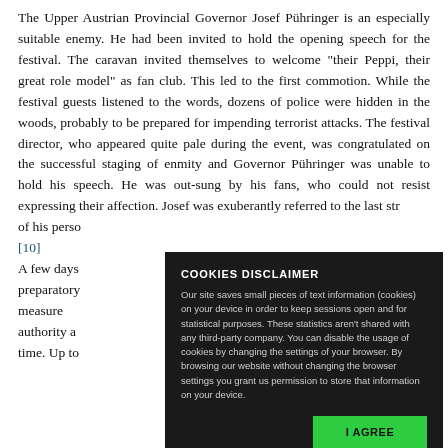The Upper Austrian Provincial Governor Josef Pühringer is an especially suitable enemy. He had been invited to hold the opening speech for the festival. The caravan invited themselves to welcome "their Peppi, their great role model" as fan club. This led to the first commotion. While the festival guests listened to the words, dozens of police were hidden in the woods, probably to be prepared for impending terrorist attacks. The festival director, who appeared quite pale during the event, was congratulated on the successful staging of enmity and Governor Pühringer was unable to hold his speech. He was out-sung by his fans, who could not resist expressing their affection. Josef was exuberantly referred to the last str... of his perso... [10] A few days preparatory measurements authority a time. Up to...
[Figure (screenshot): Cookies disclaimer overlay on dark background. Title: COOKIES DISCLAIMER. Body: Our site saves small pieces of text information (cookies) on your device in order to keep sessions open and for statistical purposes. These statistics aren't shared with any third-party company. You can disable the usage of cookies by changing the settings of your browser. By browsing our website without changing the browser settings you grant us permission to store that information on your device. Button: I AGREE (green background).]